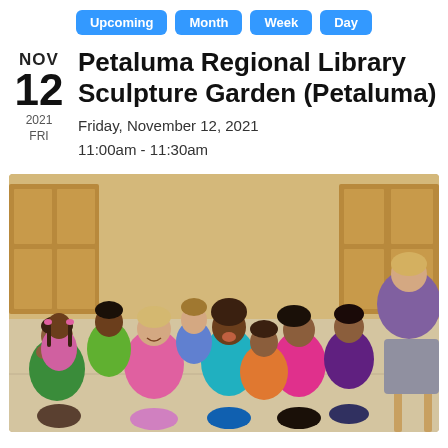Upcoming | Month | Week | Day
Petaluma Regional Library Sculpture Garden (Petaluma)
NOV
12
2021
FRI
Friday, November 12, 2021
11:00am - 11:30am
[Figure (photo): Group of young children sitting on a classroom floor laughing and smiling while facing a teacher seated in a chair on the right side of the image.]